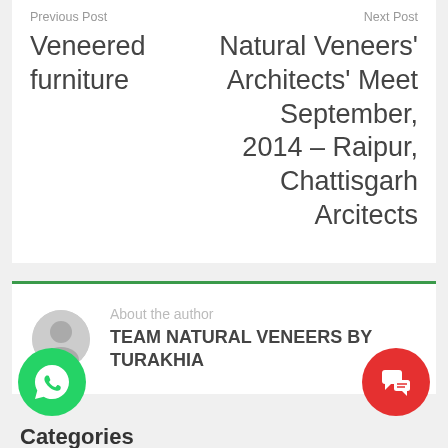Previous Post
Veneered furniture
Next Post
Natural Veneers' Architects' Meet September, 2014 – Raipur, Chattisgarh Arcitects
About the author
TEAM NATURAL VENEERS BY TURAKHIA
Categories
Architecture
decorative